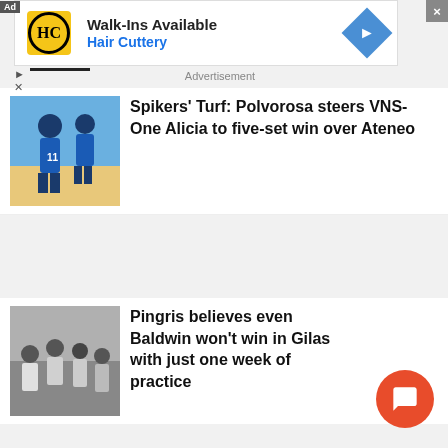[Figure (screenshot): Hair Cuttery advertisement banner with logo, 'Walk-Ins Available' text, and navigation arrow icon]
Advertisement
[Figure (photo): Volleyball players in blue uniforms on court]
Spikers’ Turf: Polvorosa steers VNS-One Alicia to five-set win over Ateneo
[Figure (photo): Basketball players and coaches on bench in gray/white uniforms]
Pingris believes even Baldwin won’t win in Gilas with just one week of practice